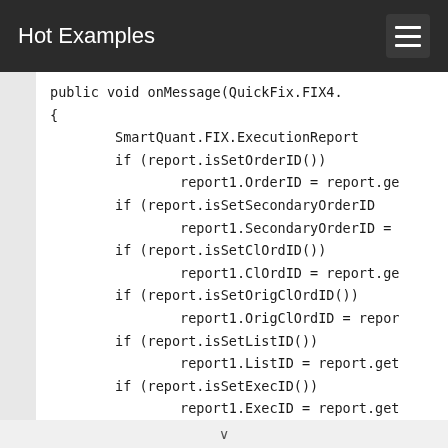Hot Examples
public void onMessage(QuickFix.FIX4.
{
        SmartQuant.FIX.ExecutionReport
        if (report.isSetOrderID())
                report1.OrderID = report.ge
        if (report.isSetSecondaryOrderID
                report1.SecondaryOrderID =
        if (report.isSetClOrdID())
                report1.ClOrdID = report.ge
        if (report.isSetOrigClOrdID())
                report1.OrigClOrdID = repor
        if (report.isSetListID())
                report1.ListID = report.get
        if (report.isSetExecID())
                report1.ExecID = report.get
        if (report.isSetExecRefID())
                report1.ExecRefID = report.